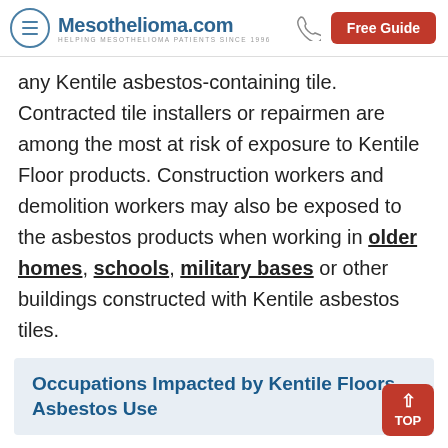Mesothelioma.com — HELPING MESOTHELIOMA PATIENTS SINCE 1996 | Free Guide
any Kentile asbestos-containing tile. Contracted tile installers or repairmen are among the most at risk of exposure to Kentile Floor products. Construction workers and demolition workers may also be exposed to the asbestos products when working in older homes, schools, military bases or other buildings constructed with Kentile asbestos tiles.
Occupations Impacted by Kentile Floors Asbestos Use
Construction workers
Demolition workers